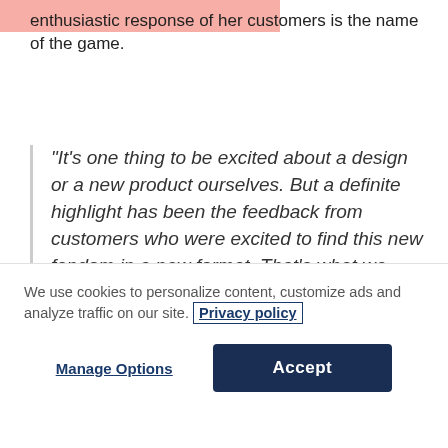enthusiastic response of her customers is the name of the game.
“It’s one thing to be excited about a design or a new product ourselves. But a definite highlight has been the feedback from customers who were excited to find this new fandom in a new format. That’s what we were hoping for–the same excitement we have ourselves when we
We use cookies to personalize content, customize ads and analyze traffic on our site. Privacy policy
Manage Options
Accept